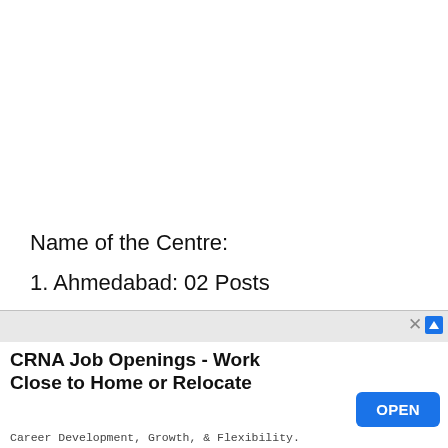Name of the Centre:
1. Ahmedabad: 02 Posts
2. Vadodara: 02 Posts
[Figure (other): Advertisement banner: CRNA Job Openings - Work Close to Home or Relocate. Career Development, Growth, & Flexibility. Discover CRNA Career Opportunities Today! careers.napaanesthesia.com. With an OPEN button and close/AdChoices controls.]